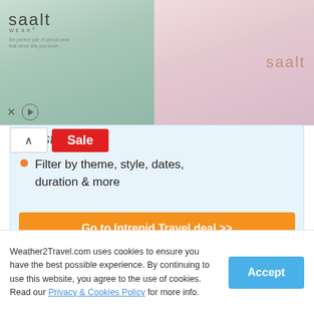[Figure (photo): Advertisement banner for Saalt Wear showing undergarments on models, with logo and controls]
destination
Filter by theme, style, dates, duration & more
Go to Intrepid Travel deal >>
View all Intrepid Travel offers
Metric (°C / mm)  |  Imperial (°F / inches)
Weather2Travel.com uses cookies to ensure you have the best possible experience. By continuing to use this website, you agree to the use of cookies. Read our Privacy & Cookies Policy for more info.